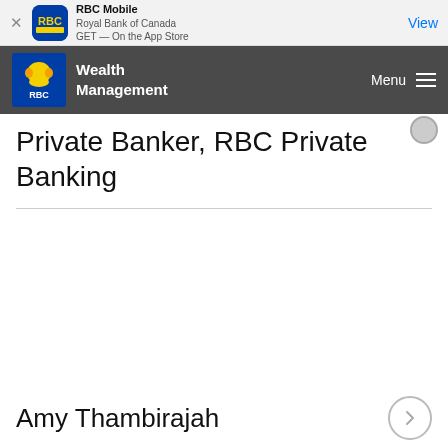[Figure (screenshot): App store banner for RBC Mobile app showing app icon, name 'RBC Mobile', publisher 'Royal Bank of Canada', 'GET — On the App Store', and a 'View' button]
[Figure (logo): RBC Wealth Management navigation bar with lion logo and hamburger menu]
Private Banker, RBC Private Banking
Amy Thambirajah